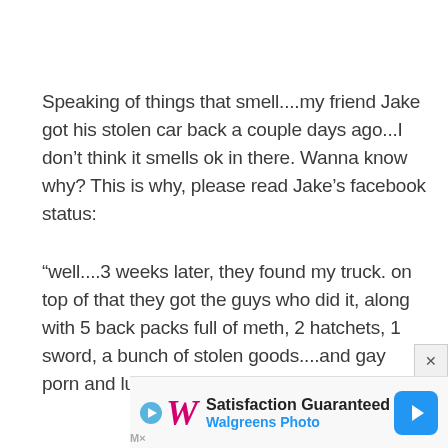Speaking of things that smell....my friend Jake got his stolen car back a couple days ago...I don't think it smells ok in there. Wanna know why? This is why, please read Jake's facebook status:
"well....3 weeks later, they found my truck. on top of that they got the guys who did it, along with 5 back packs full of meth, 2 hatchets, 1 sword, a bunch of stolen goods....and gay porn and lube."
[Figure (other): Walgreens Photo advertisement banner: Satisfaction Guaranteed - Walgreens Photo, with Walgreens logo and blue navigation arrow icon]